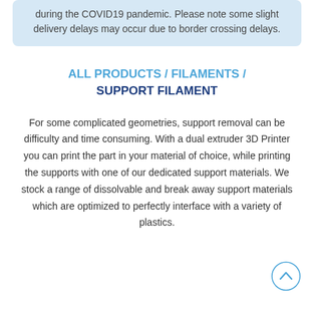during the COVID19 pandemic. Please note some slight delivery delays may occur due to border crossing delays.
ALL PRODUCTS / FILAMENTS / SUPPORT FILAMENT
For some complicated geometries, support removal can be difficulty and time consuming. With a dual extruder 3D Printer you can print the part in your material of choice, while printing the supports with one of our dedicated support materials. We stock a range of dissolvable and break away support materials which are optimized to perfectly interface with a variety of plastics.